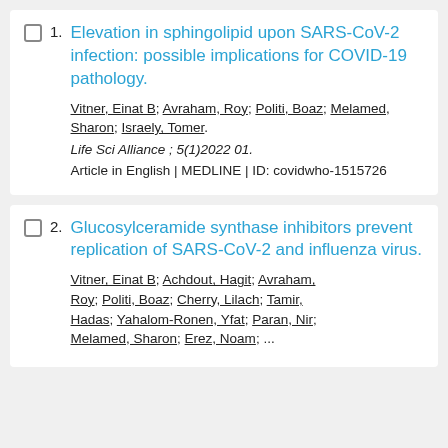1. Elevation in sphingolipid upon SARS-CoV-2 infection: possible implications for COVID-19 pathology. Vitner, Einat B; Avraham, Roy; Politi, Boaz; Melamed, Sharon; Israely, Tomer. Life Sci Alliance ; 5(1)2022 01. Article in English | MEDLINE | ID: covidwho-1515726
2. Glucosylceramide synthase inhibitors prevent replication of SARS-CoV-2 and influenza virus. Vitner, Einat B; Achdout, Hagit; Avraham, Roy; Politi, Boaz; Cherry, Lilach; Tamir, Hadas; Yahalom-Ronen, Yfat; Paran, Nir; Melamed, Sharon; ...